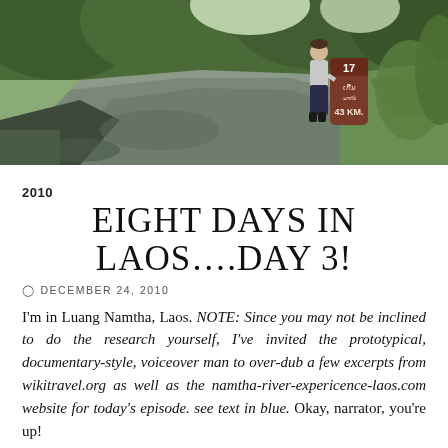[Figure (photo): Outdoor scene showing a road curving to the left with a person standing next to a kilometer marker stone reading '17' and '43 KM', surrounded by green vegetation and trees.]
2010
EIGHT DAYS IN LAOS….DAY 3!
DECEMBER 24, 2010
I'm in Luang Namtha, Laos. NOTE: Since you may not be inclined to do the research yourself, I've invited the prototypical, documentary-style, voiceover man to over-dub a few excerpts from wikitravel.org as well as the namtha-river-expericence-laos.com website for today's episode. see text in blue. Okay, narrator, you're up!